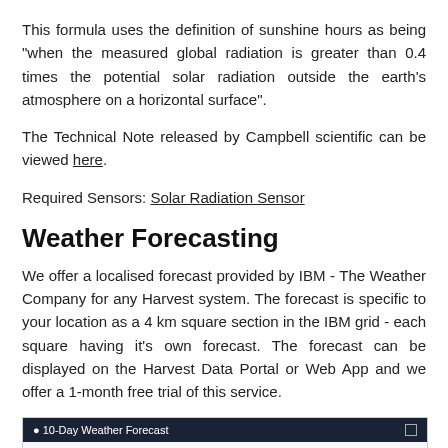This formula uses the definition of sunshine hours as being "when the measured global radiation is greater than 0.4 times the potential solar radiation outside the earth's atmosphere on a horizontal surface".
The Technical Note released by Campbell scientific can be viewed here.
Required Sensors: Solar Radiation Sensor
Weather Forecasting
We offer a localised forecast provided by IBM - The Weather Company for any Harvest system. The forecast is specific to your location as a 4 km square section in the IBM grid - each square having it's own forecast. The forecast can be displayed on the Harvest Data Portal or Web App and we offer a 1-month free trial of this service.
[Figure (screenshot): Screenshot of a 10-Day Weather Forecast widget with dark navy header and outlook text below.]